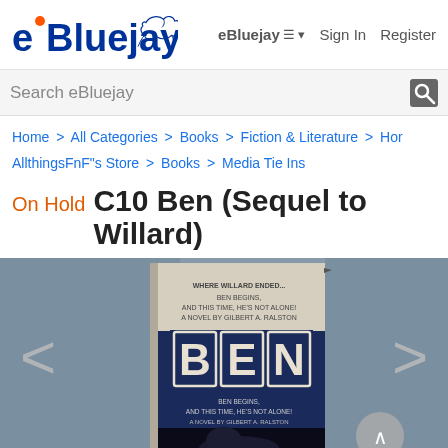eBluejay   eBluejay ≡ ▾   Sign In   Register
Search eBluejay
Home > All Categories > Books > Fiction & Literature > Hor
AllthingsFnF"s Store > Books > Media Tie Ins
On Hold C10 Ben (Sequel to Willard)
[Figure (photo): Photo of a paperback book cover titled 'BEN' — sequel to Willard. The cover shows large bold letters spelling BEN against a dark blue background, with text above reading 'WHERE WILLARD ENDED...' and below 'BEN BEGINS, AND THIS TIME HE'S NOT ALONE! A NOVEL BY GILBERT A. RALSTON'. The bottom portion shows a dark photo of a rat. Navigation arrows appear on left and right sides.]